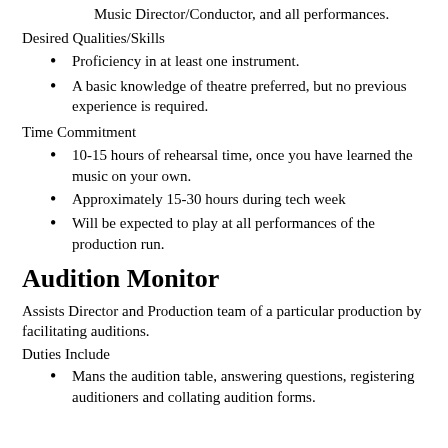Music Director/Conductor, and all performances.
Desired Qualities/Skills
Proficiency in at least one instrument.
A basic knowledge of theatre preferred, but no previous experience is required.
Time Commitment
10-15 hours of rehearsal time, once you have learned the music on your own.
Approximately 15-30 hours during tech week
Will be expected to play at all performances of the production run.
Audition Monitor
Assists Director and Production team of a particular production by facilitating auditions.
Duties Include
Mans the audition table, answering questions, registering auditioners and collating audition forms.